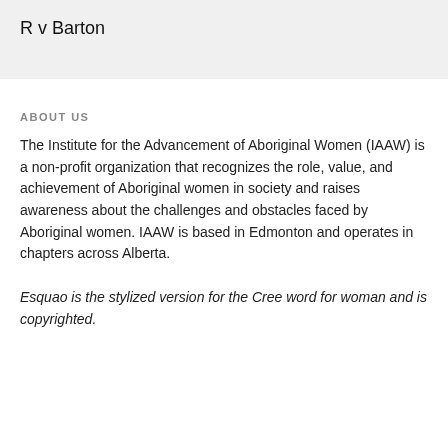R v Barton
ABOUT US
The Institute for the Advancement of Aboriginal Women (IAAW) is a non-profit organization that recognizes the role, value, and achievement of Aboriginal women in society and raises awareness about the challenges and obstacles faced by Aboriginal women. IAAW is based in Edmonton and operates in chapters across Alberta.
Esquao is the stylized version for the Cree word for woman and is copyrighted.